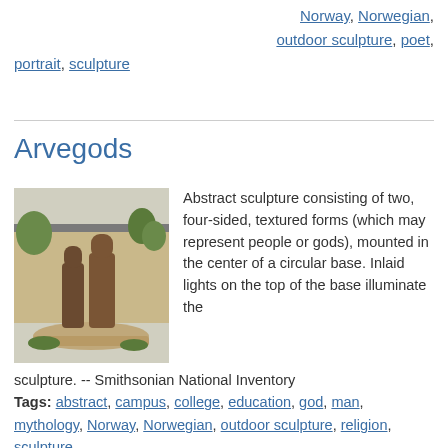Norway, Norwegian, outdoor sculpture, poet, portrait, sculpture
Arvegods
[Figure (photo): Black and white photograph of an abstract sculpture consisting of two four-sided textured forms on a circular base, in front of a building with trees in background.]
Abstract sculpture consisting of two, four-sided, textured forms (which may represent people or gods), mounted in the center of a circular base. Inlaid lights on the top of the base illuminate the sculpture. -- Smithsonian National Inventory
Tags: abstract, campus, college, education, god, man, mythology, Norway, Norwegian, outdoor sculpture, religion, sculpture